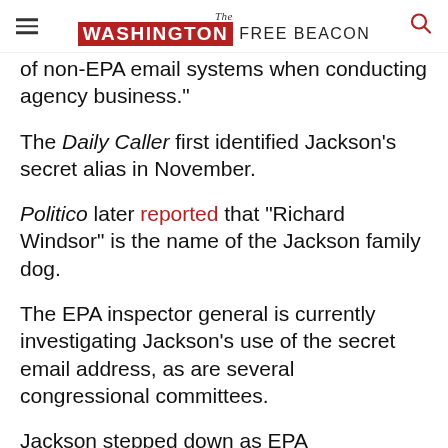The Washington Free Beacon
of non-EPA email systems when conducting agency business."
The Daily Caller first identified Jackson’s secret alias in November.
Politico later reported that "Richard Windsor" is the name of the Jackson family dog.
The EPA inspector general is currently investigating Jackson’s use of the secret email address, as are several congressional committees.
Jackson stepped down as EPA administrator in